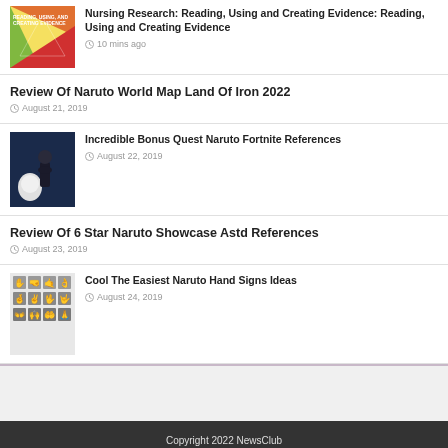[Figure (photo): Book cover: Nursing Research Reading Using and Creating Evidence]
Nursing Research: Reading, Using and Creating Evidence: Reading, Using and Creating Evidence
10 mins ago
Review Of Naruto World Map Land Of Iron 2022
August 21, 2019
[Figure (photo): Anime-style image of a dark figure crouching next to a white wolf-like creature]
Incredible Bonus Quest Naruto Fortnite References
August 22, 2019
Review Of 6 Star Naruto Showcase Astd References
August 23, 2019
[Figure (illustration): Grid of Naruto hand signs illustrations, 4x3 grid of small black and white hand gesture icons]
Cool The Easiest Naruto Hand Signs Ideas
August 24, 2019
Copyright 2022 NewsClub